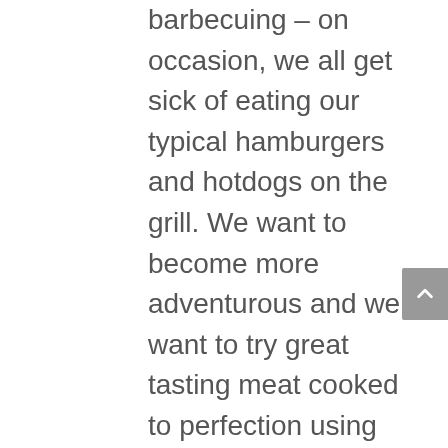barbecuing – on occasion, we all get sick of eating our typical hamburgers and hotdogs on the grill. We want to become more adventurous and we want to try great tasting meat cooked to perfection using some of the best ingredients possible to make it succulent, juicy, and altogether awesome. But when the time comes, we are typically at a loss for what we should make. So do yourself a huge favor and take the guesswork entirely out of the process. When you pick up a BBQ box subscription and get it delivered to your door every month, you'll never have to guess what you're going to eat that month that's